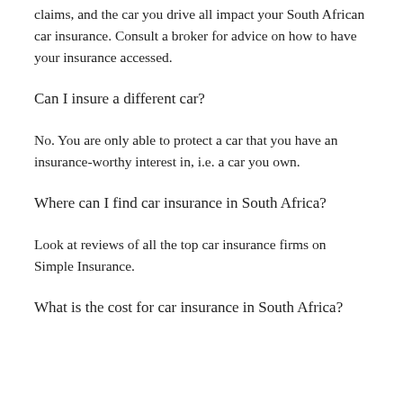claims, and the car you drive all impact your South African car insurance. Consult a broker for advice on how to have your insurance accessed.
Can I insure a different car?
No. You are only able to protect a car that you have an insurance-worthy interest in, i.e. a car you own.
Where can I find car insurance in South Africa?
Look at reviews of all the top car insurance firms on Simple Insurance.
What is the cost for car insurance in South Africa?